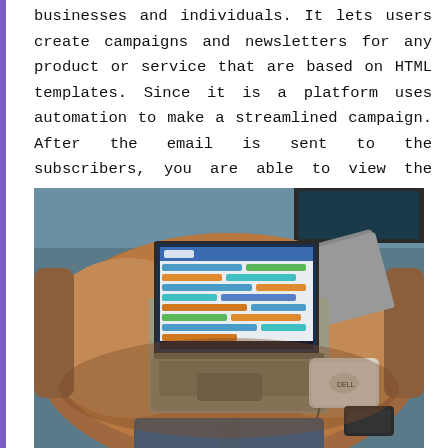businesses and individuals. It lets users create campaigns and newsletters for any product or service that are based on HTML templates. Since it is a platform uses automation to make a streamlined campaign. After the email is sent to the subscribers, you are able to view the details through their statistics.
[Figure (photo): A laptop computer open on a leather sofa/couch showing a colorful scheduling or calendar application on screen, with a portable hard drive and small black device beside it, and a gray notebook/tablet in the background. A person's legs in jeans are partially visible.]